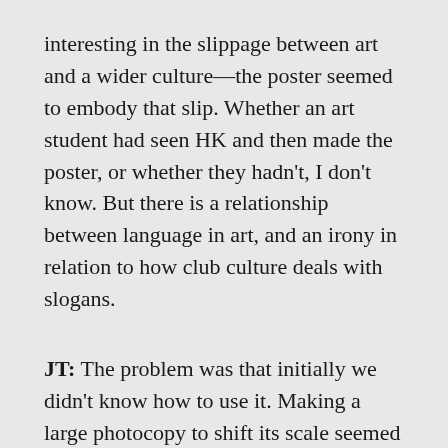interesting in the slippage between art and a wider culture—the poster seemed to embody that slip. Whether an art student had seen HK and then made the poster, or whether they hadn't, I don't know. But there is a relationship between language in art, and an irony in relation to how club culture deals with slogans.
JT: The problem was that initially we didn't know how to use it. Making a large photocopy to shift its scale seemed to work—it needed a little transformation to make it back into art. It was interesting to find something like 'Ecstasy kills' because it was amazing how quickly HK assumed a narrative that it was a found slogan, which